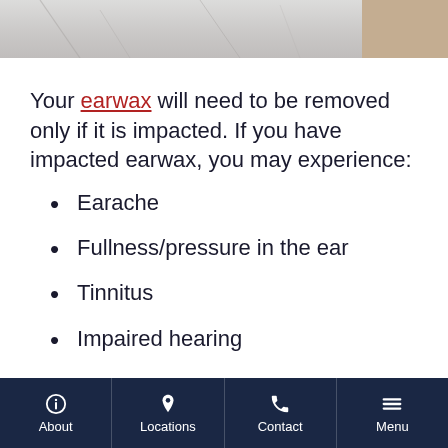[Figure (photo): Partial view of a marble surface with a green object, and a beige/tan background on the right side]
Your earwax will need to be removed only if it is impacted. If you have impacted earwax, you may experience:
Earache
Fullness/pressure in the ear
Tinnitus
Impaired hearing
About | Locations | Contact | Menu